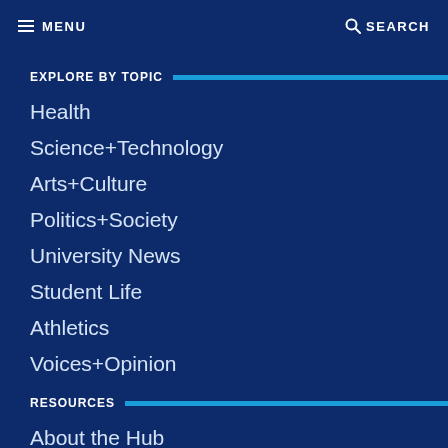MENU   SEARCH
EXPLORE BY TOPIC
Health
Science+Technology
Arts+Culture
Politics+Society
University News
Student Life
Athletics
Voices+Opinion
RESOURCES
About the Hub
Get Email Updates
Events
Submit an Announcement
Submit an Event